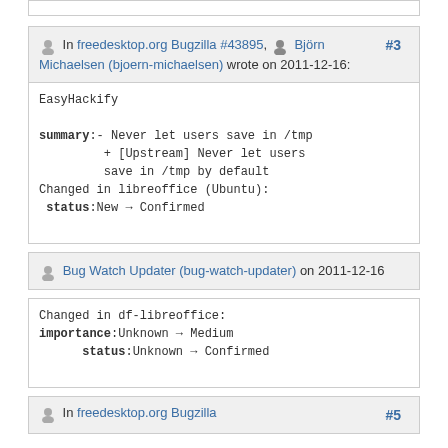In freedesktop.org Bugzilla #43895, Björn Michaelsen (bjoern-michaelsen) wrote on 2011-12-16:
#3
EasyHackify

summary:- Never let users save in /tmp
         + [Upstream] Never let users save in /tmp by default
Changed in libreoffice (Ubuntu):
 status:New → Confirmed
Bug Watch Updater (bug-watch-updater) on 2011-12-16
Changed in df-libreoffice:
importance:Unknown → Medium
      status:Unknown → Confirmed
In freedesktop.org Bugzilla #5